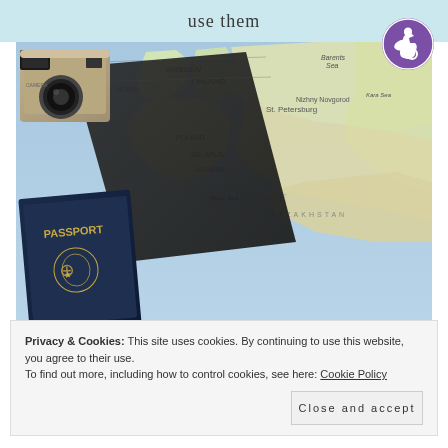use them
[Figure (photo): Photo of a US passport, vintage camera, and a map of Europe/Russia, with a black bag strap. Travel-themed flat lay on a map background.]
Privacy & Cookies: This site uses cookies. By continuing to use this website, you agree to their use.
To find out more, including how to control cookies, see here: Cookie Policy
Close and accept